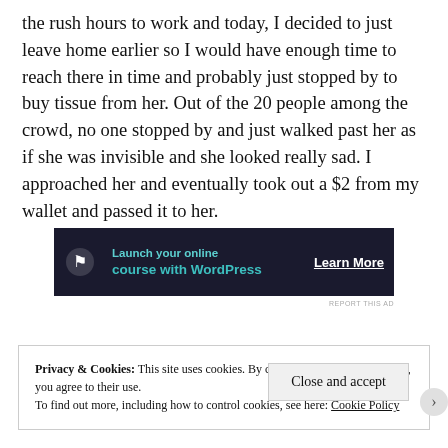the rush hours to work and today, I decided to just leave home earlier so I would have enough time to reach there in time and probably just stopped by to buy tissue from her. Out of the 20 people among the crowd, no one stopped by and just walked past her as if she was invisible and she looked really sad. I approached her and eventually took out a $2 from my wallet and passed it to her.
[Figure (other): Advertisement banner: dark navy background with icon, text 'Launch your online course with WordPress' in teal, and 'Learn More' button in white text]
REPORT THIS AD
Privacy & Cookies: This site uses cookies. By continuing to use this website, you agree to their use.
To find out more, including how to control cookies, see here: Cookie Policy
Close and accept